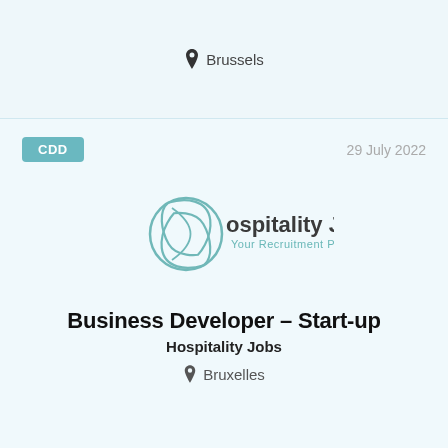Brussels
CDD
29 July 2022
[Figure (logo): Hospitality Jobs logo — stylized leaf/swirl icon in teal with text 'ospitality Jobs' and tagline 'Your Recruitment Partner']
Business Developer – Start-up
Hospitality Jobs
Bruxelles